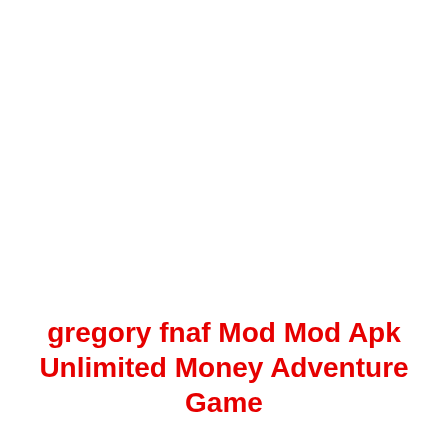gregory fnaf Mod Mod Apk Unlimited Money Adventure Game